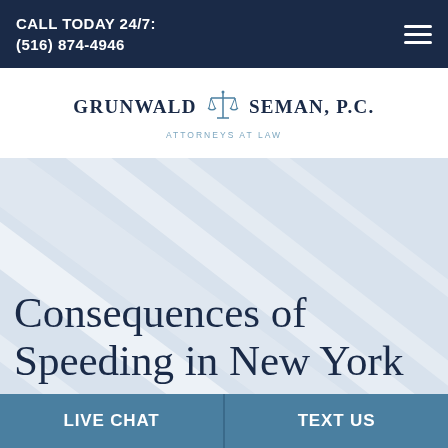CALL TODAY 24/7:
(516) 874-4946
[Figure (logo): Grunwald Seman P.C. law firm logo with scales of justice icon. Text reads: GRUNWALD SEMAN, P.C. — ATTORNEYS AT LAW]
Consequences of Speeding in New York
LIVE CHAT
TEXT US